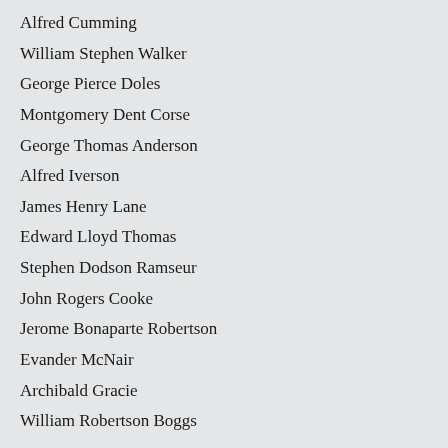Alfred Cumming
William Stephen Walker
George Pierce Doles
Montgomery Dent Corse
George Thomas Anderson
Alfred Iverson
James Henry Lane
Edward Lloyd Thomas
Stephen Dodson Ramseur
John Rogers Cooke
Jerome Bonaparte Robertson
Evander McNair
Archibald Gracie
William Robertson Boggs